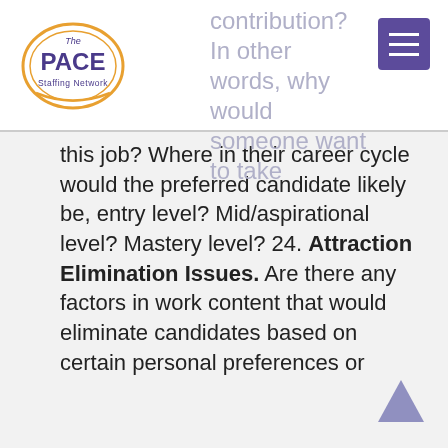contribution? In other words, why would someone want to take
this job? Where in their career cycle would the preferred candidate likely be, entry level? Mid/aspirational level? Mastery level? 24. Attraction Elimination Issues. Are there any factors in work content that would eliminate candidates based on certain personal preferences or